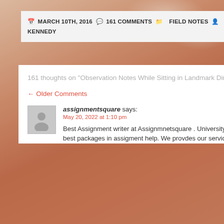MARCH 10TH, 2016  161 COMMENTS  FIELD NOTES  KENNEDY
161 thoughts on "Observation Notes While Sitting in Landmark Diner, Downtown Atlanta"
← Older Comments    Newer Comments →
assignmentsquare says:
May 20, 2022 at 1:10 pm
Best Assignment writer at Assignmnetsquare . University and College students offer best packages in assigment help. We provdes our services for students in